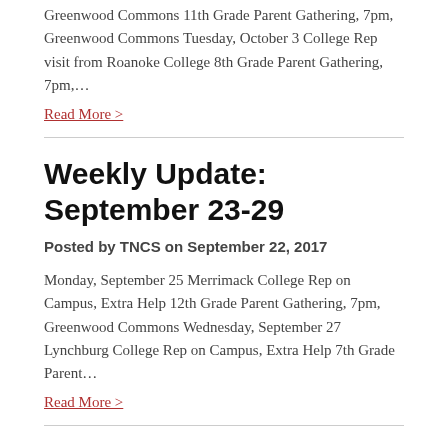Greenwood Commons 11th Grade Parent Gathering, 7pm, Greenwood Commons Tuesday, October 3 College Rep visit from Roanoke College 8th Grade Parent Gathering, 7pm,...
Read More >
Weekly Update: September 23-29
Posted by TNCS on September 22, 2017
Monday, September 25 Merrimack College Rep on Campus, Extra Help 12th Grade Parent Gathering, 7pm, Greenwood Commons Wednesday, September 27 Lynchburg College Rep on Campus, Extra Help 7th Grade Parent...
Read More >
Weekly Update: September 16-22